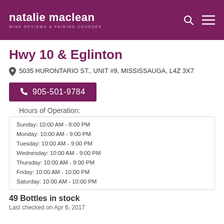nataliemaclean WINE REVIEWS & PAIRING COURSES
Hwy 10 & Eglinton
5035 HURONTARIO ST., UNIT #9, MISSISSAUGA, L4Z 3X7
905-501-9784
Hours of Operation:
Sunday: 10:00 AM - 8:00 PM
Monday: 10:00 AM - 9:00 PM
Tuesday: 10:00 AM - 9:00 PM
Wednesday: 10:00 AM - 9:00 PM
Thursday: 10:00 AM - 9:00 PM
Friday: 10:00 AM - 10:00 PM
Saturday: 10:00 AM - 10:00 PM
49 Bottles in stock
Last checked on Apr 6, 2017